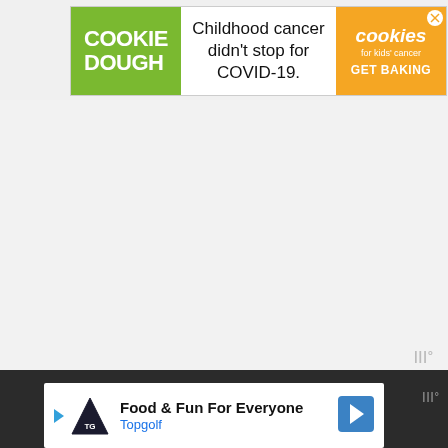[Figure (infographic): Banner advertisement for Cookies for Kids Cancer charity cookie dough fundraiser. Left green section says COOKIE DOUGH, middle white section says Childhood cancer didn't stop for COVID-19., right orange section has cookies for kids cancer logo and GET BAKING call to action.]
[Figure (infographic): Bottom banner advertisement for Topgolf. White background with Topgolf shield logo, text Food & Fun For Everyone, brand name Topgolf in blue, and a blue navigation arrow icon on the right.]